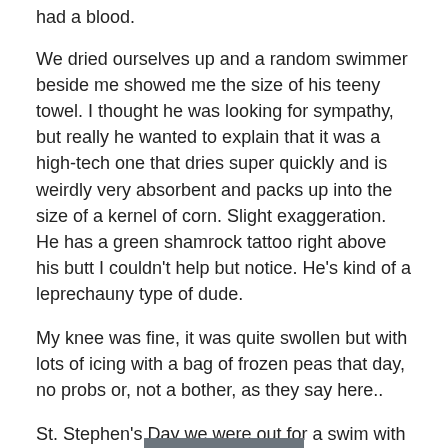had a blood.
We dried ourselves up and a random swimmer beside me showed me the size of his teeny towel. I thought he was looking for sympathy, but really he wanted to explain that it was a high-tech one that dries super quickly and is weirdly very absorbent and packs up into the size of a kernel of corn. Slight exaggeration. He has a green shamrock tattoo right above his butt I couldn't help but notice. He's kind of a leprechauny type of dude.
My knee was fine, it was quite swollen but with lots of icing with a bag of frozen peas that day, no probs or, not a bother, as they say here..
St. Stephen's Day we were out for a swim with my great new Christmas pressie: an underwater camera.
[Figure (other): Grey/dark bar at bottom of page, partially visible]